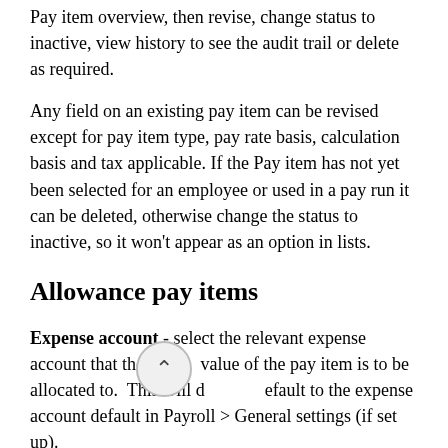Pay item overview, then revise, change status to inactive, view history to see the audit trail or delete as required.
Any field on an existing pay item can be revised except for pay item type, pay rate basis, calculation basis and tax applicable. If the Pay item has not yet been selected for an employee or used in a pay run it can be deleted, otherwise change the status to inactive, so it won't appear as an option in lists.
Allowance pay items
Expense account - select the relevant expense account that the value of the pay item is to be allocated to. This will default to the expense account default in Payroll > General settings (if set up).
Calculation basis - select calculation basis: